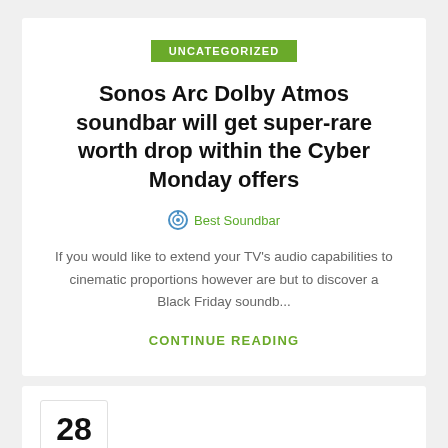UNCATEGORIZED
Sonos Arc Dolby Atmos soundbar will get super-rare worth drop within the Cyber Monday offers
Best Soundbar
If you would like to extend your TV's audio capabilities to cinematic proportions however are but to discover a Black Friday soundb...
CONTINUE READING
28 JUL